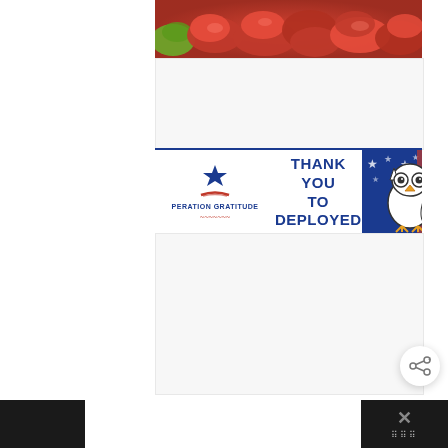[Figure (photo): Close-up photo of red and green chili peppers at the top of the page]
[Figure (illustration): Operation Gratitude banner advertisement: 'SAY THANK YOU TO DEPLOYED TROOPS' with patriotic star logo on left and cartoon owl with American flag on right]
[Figure (other): Share button icon (circular white button with share symbol) and dark footer bars on bottom left and right corners with X close button]